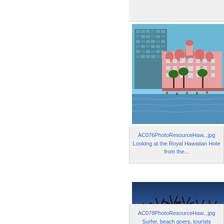[Figure (photo): Photo of the Royal Hawaiian Hotel - a pink building with palm trees visible from the water, clear blue sky, with a modern glass tower behind it]
AC076PhotoResourceHaw...jpg
Looking at the Royal Hawaiian Hote from the...
[Figure (photo): Sunset beach scene with palm trees silhouetted against an orange and golden sky, people walking on a beach path]
AC078PhotoResourceHaw...jpg
Surfer, beach goers, tourists walkin...